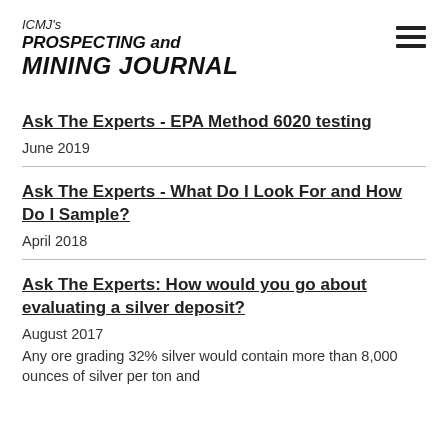ICMJ's PROSPECTING and MINING JOURNAL
Ask The Experts - EPA Method 6020 testing
June 2019
Ask The Experts - What Do I Look For and How Do I Sample?
April 2018
Ask The Experts: How would you go about evaluating a silver deposit?
August 2017
Any ore grading 32% silver would contain more than 8,000 ounces of silver per ton and